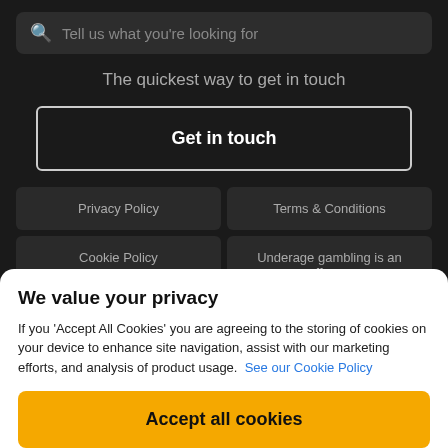Tell us what you're looking for
The quickest way to get in touch
Get in touch
Privacy Policy
Terms & Conditions
Cookie Policy
Underage gambling is an offence
We value your privacy
If you 'Accept All Cookies' you are agreeing to the storing of cookies on your device to enhance site navigation, assist with our marketing efforts, and analysis of product usage.  See our Cookie Policy
Accept all cookies